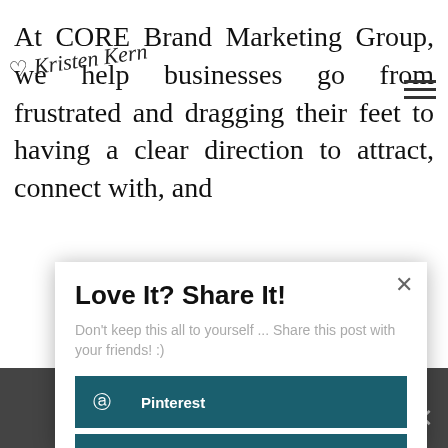At CORE Brand Marketing Group, we help businesses go from frustrated and dragging their feet to having a clear direction to attract, connect with, and
[Figure (screenshot): Handwritten signature or annotation over background text]
Love It? Share It!
Don't keep this all to yourself ... Share this post with your friends! :)
Pinterest
Facebook
Twitter
LinkedIn